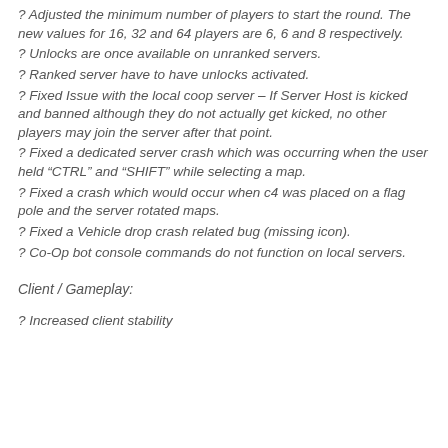? Adjusted the minimum number of players to start the round. The new values for 16, 32 and 64 players are 6, 6 and 8 respectively.
? Unlocks are once available on unranked servers.
? Ranked server have to have unlocks activated.
? Fixed Issue with the local coop server – If Server Host is kicked and banned although they do not actually get kicked, no other players may join the server after that point.
? Fixed a dedicated server crash which was occurring when the user held “CTRL” and “SHIFT” while selecting a map.
? Fixed a crash which would occur when c4 was placed on a flag pole and the server rotated maps.
? Fixed a Vehicle drop crash related bug (missing icon).
? Co-Op bot console commands do not function on local servers.
Client / Gameplay:
? Increased client stability